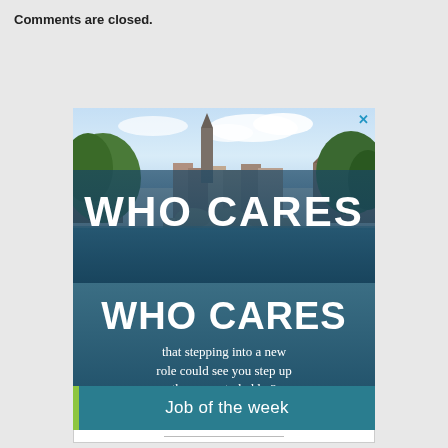Comments are closed.
[Figure (illustration): Advertisement banner showing a European town scene with church tower, canal, and stone bridge. Large white bold text reads 'WHO CARES' and below in italic 'that stepping into a new role could see you step up the property ladder?']
Job of the week